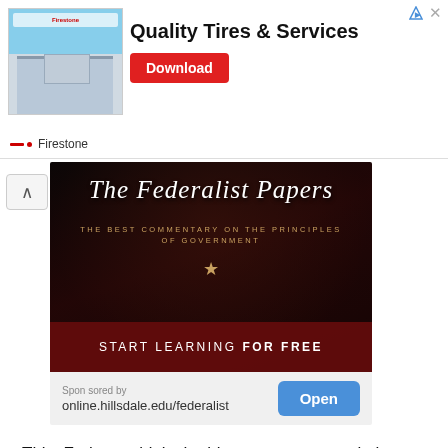[Figure (photo): Firestone tire store building exterior photo]
Quality Tires & Services
Download
Firestone
[Figure (illustration): The Federalist Papers advertisement banner - dark red background with italic serif title 'The Federalist Papers', subtitle 'THE BEST COMMENTARY ON THE PRINCIPLES OF GOVERNMENT', star decoration, and red bar reading 'START LEARNING FOR FREE']
Sponsored by
online.hillsdale.edu/federalist
Open
This, Forbes said, is the biggest one-year gain by any billionaire since the news outlet began tracking the wealth of high net-worth individuals.
Musk is set to earn another windfall later this month when Tesla reports its fourth quarter earnings. If the company meets certain operational and valuation goals